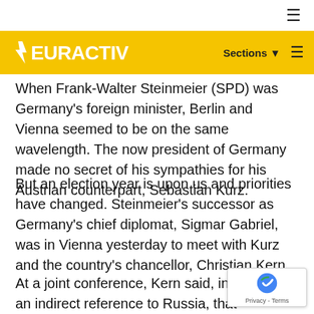EURACTIV — Sections ☰
When Frank-Walter Steinmeier (SPD) was Germany's foreign minister, Berlin and Vienna seemed to be on the same wavelength. The now president of Germany made no secret of his sympathies for his Austrian counterpart, Sebastian Kurz.
But an election year is upon us and priorities have changed. Steinmeier's successor as Germany's chief diplomat, Sigmar Gabriel, was in Vienna yesterday to meet with Kurz and the country's chancellor, Christian Kern.
At a joint conference, Kern said, in an indirect reference to Russia, that "It would be a mistake for European countries to seek individual answers to current challenges, rather than EU-wide solutions. U.S